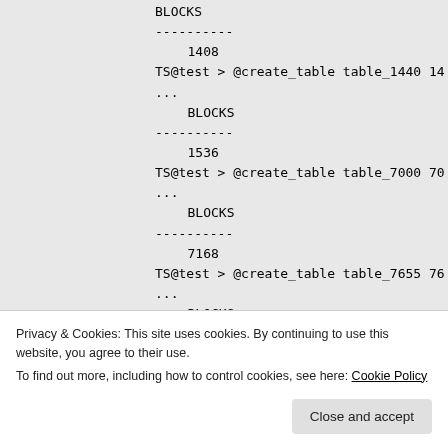BLOCKS
----------
1408
TS@test > @create_table table_1440 14...
...
BLOCKS
----------
1536
TS@test > @create_table table_7000 70...
...
BLOCKS
----------
7168
TS@test > @create_table table_7655 76...
...
BLOCKS
----------
7808
Privacy & Cookies: This site uses cookies. By continuing to use this website, you agree to their use.
To find out more, including how to control cookies, see here: Cookie Policy
Close and accept